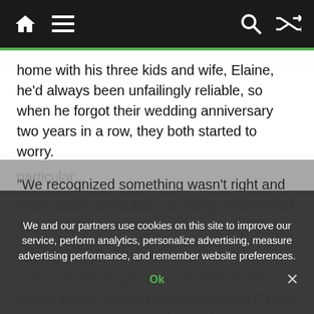Navigation bar with home, menu, search, and shuffle icons
home with his three kids and wife, Elaine, he'd always been unfailingly reliable, so when he forgot their wedding anniversary two years in a row, they both started to worry.
“We recognized something wasn’t right and pretty much attributed it to being overworked and tired,” Elaine said.
But the symptoms grew. Last year, when Jose was 50, he got an evaluation at the Walter Reed National Military Medical Center that included a battery of cognitive tests and an amyloid PET scan of his brain.
particularly ...disease (though some healthy older adults have these deposits too).
We and our partners use cookies on this site to improve our service, perform analytics, personalize advertising, measure advertising performance, and remember website preferences.